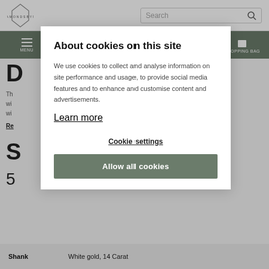[Figure (logo): DiamondsByMe logo — diamond outline shape with text DIAMONDSBYME]
Search bar in header
MENU | SERVICE | ACCOUNT | WISHLIST | SHOPPING BAG navigation bar
D
Th
wi
wi
Re
S
5
About cookies on this site
We use cookies to collect and analyse information on site performance and usage, to provide social media features and to enhance and customise content and advertisements.
Learn more
Cookie settings
Allow all cookies
| Shank | White gold, 14 Carat |
| --- | --- |
| Shank | White gold, 14 Carat |